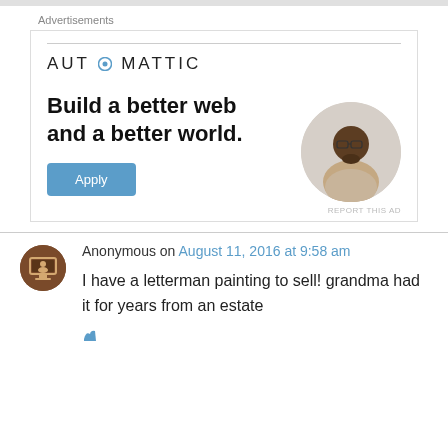Advertisements
[Figure (logo): Automattic logo with circular icon replacing the letter O]
Build a better web and a better world.
Apply
[Figure (photo): Circular cropped photo of a man sitting at a desk, looking upward thoughtfully, wearing glasses and a beige shirt]
REPORT THIS AD
Anonymous on August 11, 2016 at 9:58 am
I have a letterman painting to sell! grandma had it for years from an estate